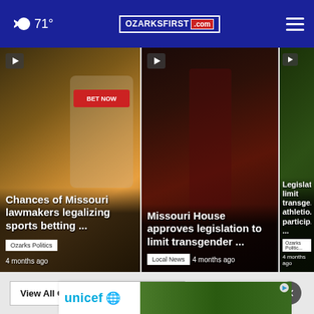71° | OZARKSFIRST.com
[Figure (screenshot): News card: Chances of Missouri lawmakers legalizing sports betting ... | Ozarks Politics | 4 months ago]
[Figure (screenshot): News card: Missouri House approves legislation to limit transgender ... | Local News | 4 months ago]
[Figure (screenshot): News card: Legislat... limit transge... athletic... particip... | Ozarks Politic... | 4 months ago]
View All Ozarks Politics ›
[Figure (advertisement): UNICEF advertisement banner with children photo]